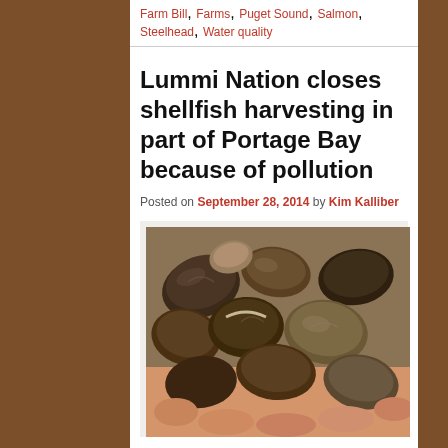Farm Bill, Farms, Puget Sound, Salmon, Steelhead, Water quality
Lummi Nation closes shellfish harvesting in part of Portage Bay because of pollution
Posted on September 28, 2014 by Kim Kalliber
[Figure (photo): Close-up photograph of a handful of shellfish (clams/mussels) being held in a person's hand, showing dark brown and olive-colored shells with various sizes.]